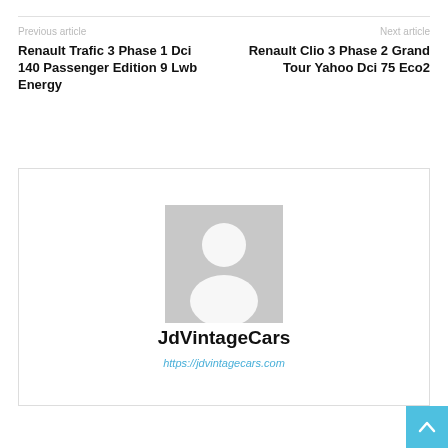Previous article
Next article
Renault Trafic 3 Phase 1 Dci 140 Passenger Edition 9 Lwb Energy
Renault Clio 3 Phase 2 Grand Tour Yahoo Dci 75 Eco2
[Figure (illustration): Default user avatar placeholder showing a silhouette of a person (head and shoulders) in light gray on gray background]
JdVintageCars
https://jdvintagecars.com